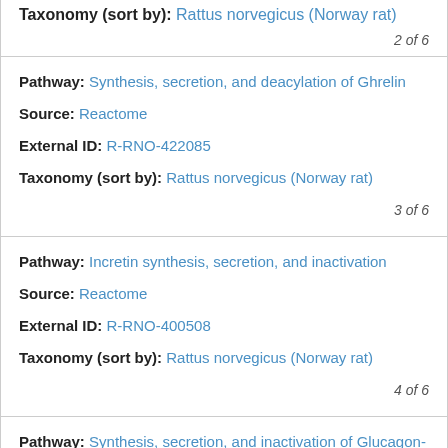Taxonomy (sort by): Rattus norvegicus (Norway rat) — 2 of 6
Pathway: Synthesis, secretion, and deacylation of Ghrelin | Source: Reactome | External ID: R-RNO-422085 | Taxonomy (sort by): Rattus norvegicus (Norway rat) | 3 of 6
Pathway: Incretin synthesis, secretion, and inactivation | Source: Reactome | External ID: R-RNO-400508 | Taxonomy (sort by): Rattus norvegicus (Norway rat) | 4 of 6
Pathway: Synthesis, secretion, and inactivation of Glucagon-like Peptide-1 (GLP-1) | Source: Reactome | External ID: R-RNO-381771